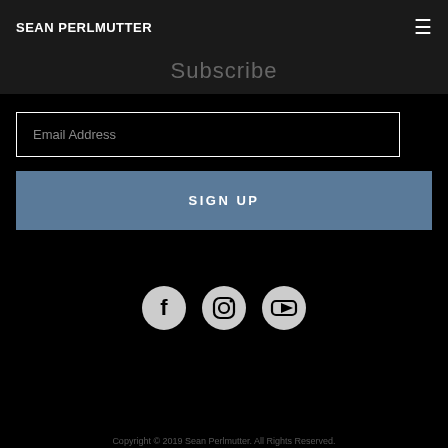SEAN PERLMUTTER
Subscribe
Email Address
SIGN UP
[Figure (other): Social media icons: Facebook, Instagram, YouTube]
Copyright © 2019 Sean Perlmutter. All Rights Reserved.